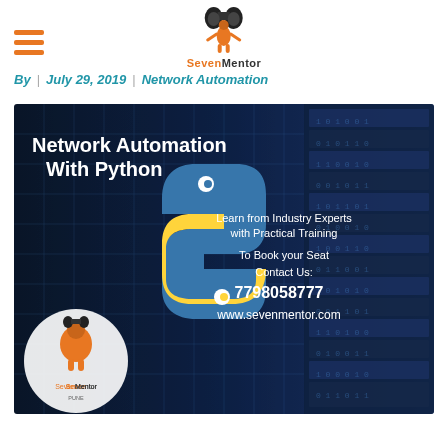[Figure (logo): SevenMentor logo with orange figure and binoculars icon, top center of page]
By  |  July 29, 2019  |  Network Automation
[Figure (infographic): Network Automation With Python promotional banner. Dark blue background with digital/server imagery. Python logo (blue and yellow snake). Text: 'Network Automation With Python', 'Learn from Industry Experts with Practical Training', 'To Book your Seat', 'Contact Us:', '7798058777', 'www.sevenmentor.com'. SevenMentor logo bottom-left corner.]